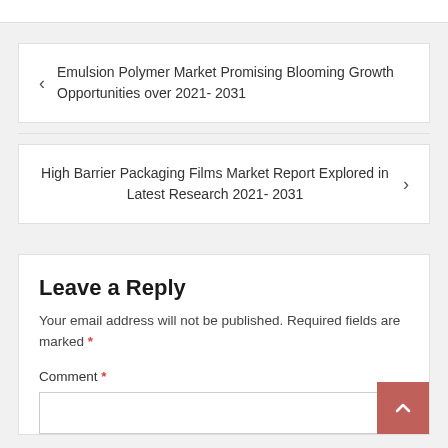< Emulsion Polymer Market Promising Blooming Growth Opportunities over 2021- 2031
High Barrier Packaging Films Market Report Explored in Latest Research 2021- 2031 >
Leave a Reply
Your email address will not be published. Required fields are marked *
Comment *